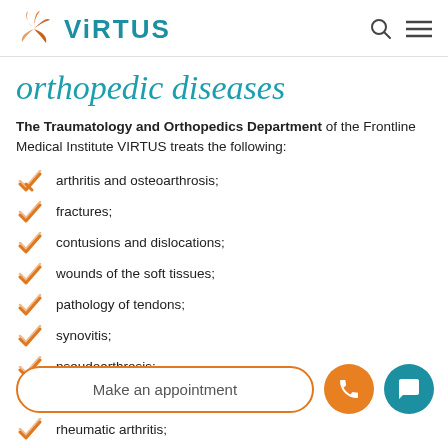VIRTUS
orthopedic diseases
The Traumatology and Orthopedics Department of the Frontline Medical Institute VIRTUS treats the following:
arthritis and osteoarthrosis;
fractures;
contusions and dislocations;
wounds of the soft tissues;
pathology of tendons;
synovitis;
pseudoarthrosis;
Make an appointment
rheumatic arthritis;